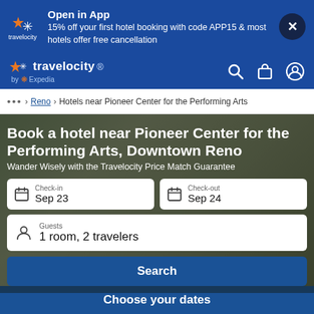Open in App
15% off your first hotel booking with code APP15 & most hotels offer free cancellation
travelocity by Expedia
... > Reno > Hotels near Pioneer Center for the Performing Arts
Book a hotel near Pioneer Center for the Performing Arts, Downtown Reno
Wander Wisely with the Travelocity Price Match Guarantee
Check-in Sep 23
Check-out Sep 24
Guests 1 room, 2 travelers
Search
Choose your dates